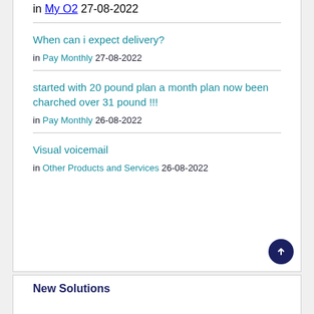in My O2 27-08-2022
When can i expect delivery?
in Pay Monthly 27-08-2022
started with 20 pound plan a month plan now been charched over 31 pound !!!
in Pay Monthly 26-08-2022
Visual voicemail
in Other Products and Services 26-08-2022
New Solutions